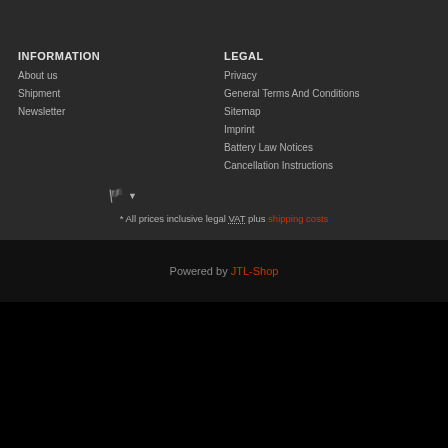INFORMATION
About us
Shipment
Newsletter
LEGAL
Privacy
General Terms And Conditions
Sitemap
Imprint
Battery Law Notices
Cancellation Instructions
* All prices inclusive legal VAT plus shipping costs
Powered by JTL-Shop